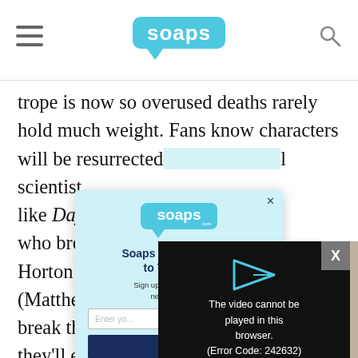soaps
trope is now so overused deaths rarely hold much weight. Fans know characters will be resurrected l scientist, like Days o m Utay) who broug Scott), Will Horton (Ch Deveraux (Matthew A eight will break throu they'll esca being accid (Thad Luckinbill) d Restless. Sometim character di even if we love them
[Figure (screenshot): Newsletter signup modal popup with light blue background, Soaps.com logo, heading 'Soaps News, Straight to Your Inbox', subtext 'Sign up for the Soaps daily newsletter today.', email input field, and dark blue subscribe button]
[Figure (screenshot): Video player overlay with black background showing error message 'The video cannot be played in this browser. (Error Code: 242632)' with a play button arrow icon, and a close X button in top right corner]